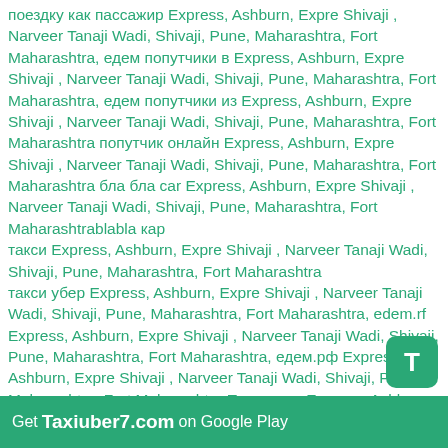поездку как пассажир Express, Ashburn, Expre Shivaji , Narveer Tanaji Wadi, Shivaji, Pune, Maharashtra, Fort Maharashtra, едем попутчики в Express, Ashburn, Expre Shivaji , Narveer Tanaji Wadi, Shivaji, Pune, Maharashtra, Fort Maharashtra, едем попутчики из Express, Ashburn, Expre Shivaji , Narveer Tanaji Wadi, Shivaji, Pune, Maharashtra, Fort Maharashtra попутчик онлайн Express, Ashburn, Expre Shivaji , Narveer Tanaji Wadi, Shivaji, Pune, Maharashtra, Fort Maharashtra бла бла car Express, Ashburn, Expre Shivaji , Narveer Tanaji Wadi, Shivaji, Pune, Maharashtra, Fort Maharashtrablabla кар такси Express, Ashburn, Expre Shivaji , Narveer Tanaji Wadi, Shivaji, Pune, Maharashtra, Fort Maharashtra такси убер Express, Ashburn, Expre Shivaji , Narveer Tanaji Wadi, Shivaji, Pune, Maharashtra, Fort Maharashtra, edem.rf Express, Ashburn, Expre Shivaji , Narveer Tanaji Wadi, Shivaji, Pune, Maharashtra, Fort Maharashtra, едем.рф Express, Ashburn, Expre Shivaji , Narveer Tanaji Wadi, Shivaji, Pune, Maharashtra, Fort Maharashtra Попутчики Express, Ashburn, Expre Shivaji , Narveer Tanaji Wadi, Shivaji, Pune, Maharashtra, Fort Maharashtra Попутчики из Express, Ashburn, Expre Shivaji , Narveer Tanaji Wadi, Shivaji, Pune, Maharashtra, Fort Maharashtra blablacar from Express, Ashburn, Expre Shivaji , Narveer Tanaji Wadi, Shivaji, Pune, Maharashtra, Fort Maharashtra to Blablabus Express, Ashburn, Expre Shivaji , Narveer Tanaji Wadi, Shivaji, Pune, Maharashtra, Fort Maharashtra, BlablataXi Express, Ashburn, Expre
Get Taxiuber7.com on Google Play